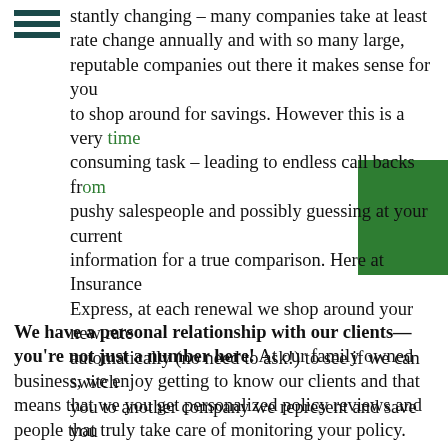Do the shopping for you. Insurance rates are constantly changing – many companies take at least one rate change annually and with so many large, reputable companies out there it makes sense for you to shop around for savings. However this is a very time consuming task – leading to endless call backs from pushy salespeople and possibly guessing at your current information for a true comparison. Here at Insurance Express, at each renewal we shop around your new rate automatically (no need to ask!) to see if we can switch you to another company we represent and save you money. That's more money in your pocket without the leg work!!
We have a personal relationship with our clients—you're not just a number here! At our family owned business, we enjoy getting to know our clients and that means that we you get personalized policy reviews and people that truly take care of monitoring your policy.